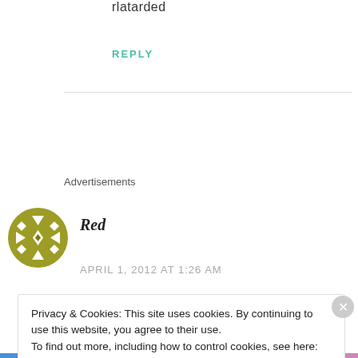rlatarded
REPLY
Advertisements
[Figure (illustration): Circular avatar icon with olive/khaki geometric pattern: diamonds, triangles, and arrow shapes arranged symmetrically]
Red
APRIL 1, 2012 AT 1:26 AM
Privacy & Cookies: This site uses cookies. By continuing to use this website, you agree to their use.
To find out more, including how to control cookies, see here: Cookie Policy
Close and accept